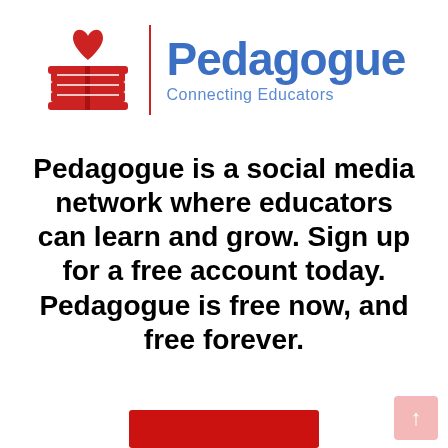[Figure (logo): Pedagogue logo: red illustrated open book with heart symbol above it, beside a vertical red dividing line, with the brand name 'Pedagogue' in blue and tagline 'Connecting Educators' in lighter blue]
Pedagogue is a social media network where educators can learn and grow. Sign up for a free account today. Pedagogue is free now, and free forever.
[Figure (other): Partial red Sign Up button visible at the bottom center of the page]
[Figure (other): Pink/salmon colored scroll-to-top button with upward arrow in bottom right corner]